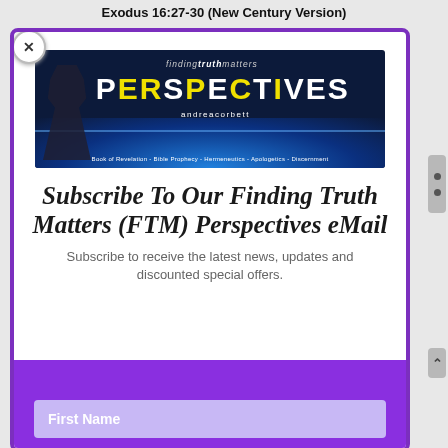Exodus 16:27-30 (New Century Version)
[Figure (other): Finding Truth Matters Perspectives banner image with a man in a suit holding a book, globe background, subtitle: Book of Revelation - Bible Prophecy - Hermeneutics - Apologetics - Discernment]
Subscribe To Our Finding Truth Matters (FTM) Perspectives eMail
Subscribe to receive the latest news, updates and discounted special offers.
First Name